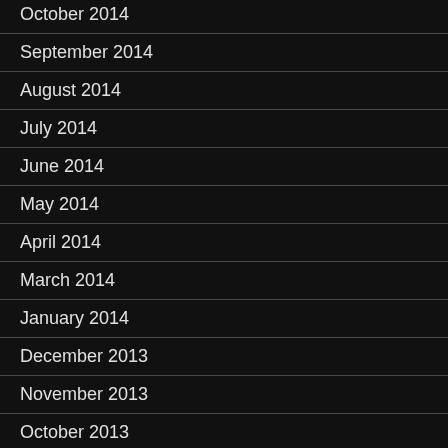October 2014
September 2014
August 2014
July 2014
June 2014
May 2014
April 2014
March 2014
January 2014
December 2013
November 2013
October 2013
September 2013